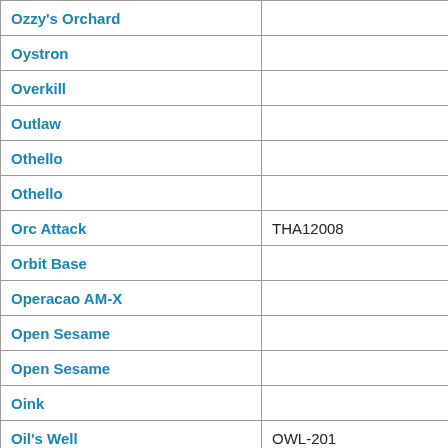| Name | Code |  |
| --- | --- | --- |
| Ozzy's Orchard |  |  |
| Oystron |  |  |
| Overkill |  |  |
| Outlaw |  |  |
| Othello |  |  |
| Othello |  |  |
| Orc Attack | THA12008 |  |
| Orbit Base |  |  |
| Operacao AM-X |  |  |
| Open Sesame |  |  |
| Open Sesame |  |  |
| Oink |  |  |
| Oil's Well | OWL-201 |  |
| Off Your Rocker | 3130 |  |
| Octopus |  |  |
| Nuts |  |  |
| No Escape! |  |  |
| Nightstrike |  |  |
| Nightst... |  |  |